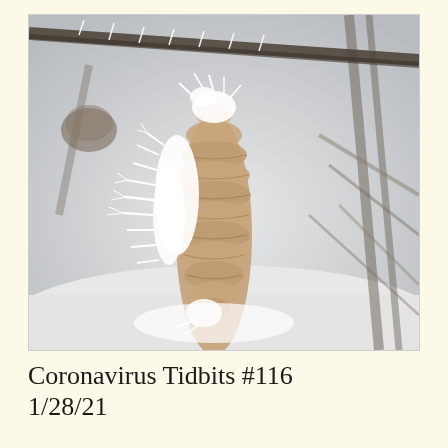[Figure (photo): A close-up photograph of a pine cone covered in white frost crystals, hanging on a bare snowy branch in a winter forest. The background shows blurred snowy trees and branches.]
Coronavirus Tidbits #116
1/28/21